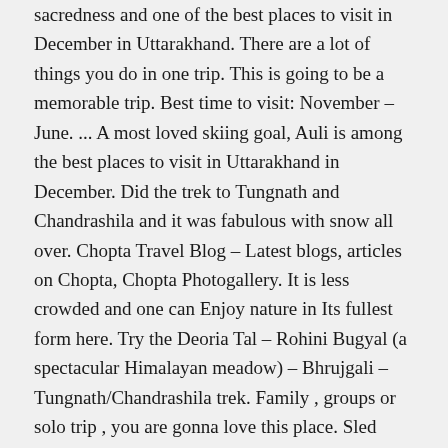sacredness and one of the best places to visit in December in Uttarakhand. There are a lot of things you do in one trip. This is going to be a memorable trip. Best time to visit: November – June. ... A most loved skiing goal, Auli is among the best places to visit in Uttarakhand in December. Did the trek to Tungnath and Chandrashila and it was fabulous with snow all over. Chopta Travel Blog – Latest blogs, articles on Chopta, Chopta Photogallery. It is less crowded and one can Enjoy nature in Its fullest form here. Try the Deoria Tal – Rohini Bugyal (a spectacular Himalayan meadow) – Bhrujgali – Tungnath/Chandrashila trek. Family , groups or solo trip , you are gonna love this place. Sled rides, snowboarding, and skiing are the best activities in December here. We value your privacy. December is the most romantic time to visit Chopta. Chopta is a must visit destination for nature lovers and those who are passionate for trekking. The Deoria Tal is located on the Ukhimath–Gopeshwar road, and is reached by a 2 km trek through Sari Village. Things To Do In Chopta Valley Trip. Cocooned